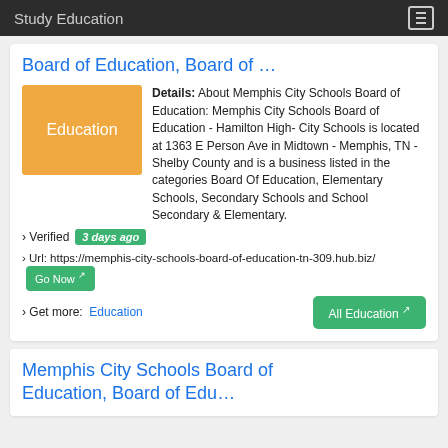Study Education
Board of Education, Board of …
[Figure (illustration): Orange badge with white text reading 'Education']
Details: About Memphis City Schools Board of Education: Memphis City Schools Board of Education - Hamilton High- City Schools is located at 1363 E Person Ave in Midtown - Memphis, TN - Shelby County and is a business listed in the categories Board Of Education, Elementary Schools, Secondary Schools and School Secondary & Elementary.
› Verified 3 days ago
› Url: https://memphis-city-schools-board-of-education-tn-309.hub.biz/ Go Now ↗
› Get more: Education  All Education ↗
Memphis City Schools Board of Education, Board of Edu…